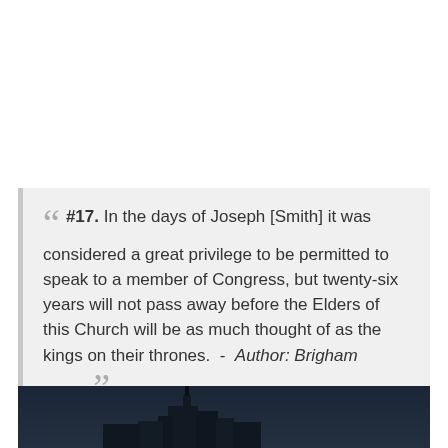““  #17. In the days of Joseph [Smith] it was considered a great privilege to be permitted to speak to a member of Congress, but twenty-six years will not pass away before the Elders of this Church will be as much thought of as the kings on their thrones.  -  Author: Brigham Young ””
[Figure (photo): Dark nighttime photograph showing the silhouette of a building or structure against a dark blue sky]